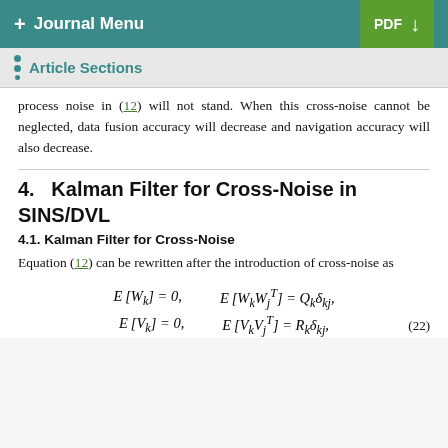+ Journal Menu | PDF ↓
Article Sections
process noise in (12) will not stand. When this cross-noise cannot be neglected, data fusion accuracy will decrease and navigation accuracy will also decrease.
4. Kalman Filter for Cross-Noise in SINS/DVL
4.1. Kalman Filter for Cross-Noise
Equation (12) can be rewritten after the introduction of cross-noise as